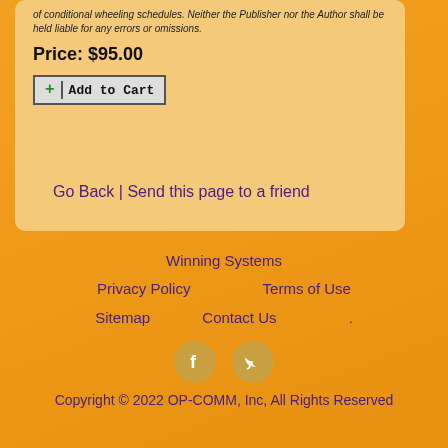of conditional wheeling schedules. Neither the Publisher nor the Author shall be held liable for any errors or omissions.
Price: $95.00
[Figure (other): Add to Cart button with green plus icon]
Go Back | Send this page to a friend
Winning Systems
Privacy Policy   Terms of Use
Sitemap   Contact Us   .
[Figure (other): Facebook and Twitter social media icon circles]
Copyright © 2022 OP-COMM, Inc, All Rights Reserved